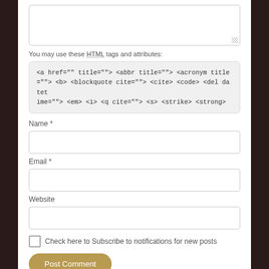[Figure (screenshot): Textarea form field (empty, resizable)]
You may use these HTML tags and attributes:
<a href="" title=""> <abbr title=""> <acronym title =""> <b> <blockquote cite=""> <cite> <code> <del datet ime=""> <em> <i> <q cite=""> <s> <strike> <strong>
Name *
[Figure (screenshot): Name input field (empty)]
Email *
[Figure (screenshot): Email input field (empty)]
Website
[Figure (screenshot): Website input field (empty)]
Check here to Subscribe to notifications for new posts
Post Comment